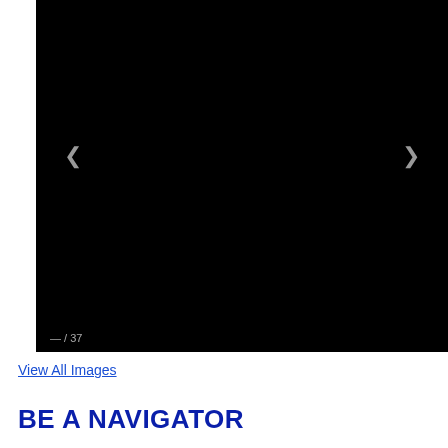[Figure (photo): Image viewer showing a black/dark image with left and right navigation arrows and a page counter '— / 37' in the lower left corner]
View All Images
BE A NAVIGATOR